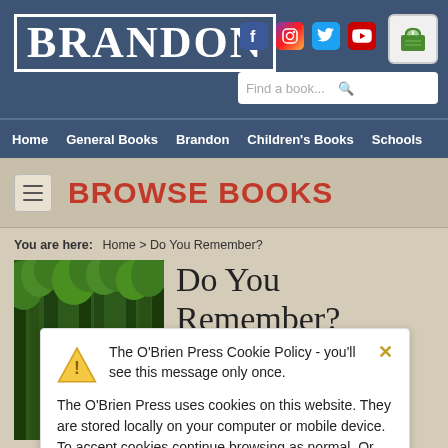[Figure (screenshot): Brandon Books website header with logo, social media icons, cart button, and search bar on a dark blue background]
Home  General Books  Brandon  Children's Books  Schools
BROWSE BOOKS
You are here:  Home > Do You Remember?
[Figure (photo): Book cover for 'Do You Remember?' by Alice Taylor, showing a forest path with green trees]
Do You Remember?
The O'Brien Press Cookie Policy - you'll see this message only once.

The O'Brien Press uses cookies on this website. They are stored locally on your computer or mobile device. To accept cookies continue browsing as normal. Or go to the cookie policy for more information and preferences.